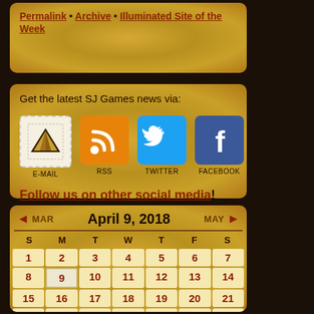Permalink • Archive • Illuminated Site of the Week
Get the latest SJ Games news via:
[Figure (infographic): Four social media icons: Email (pyramid stamp), RSS (orange), Twitter (blue bird), Facebook (blue f), each with label below]
Follow us on other social media!
| S | M | T | W | T | F | S |
| --- | --- | --- | --- | --- | --- | --- |
| 1 | 2 | 3 | 4 | 5 | 6 | 7 |
| 8 | 9 | 10 | 11 | 12 | 13 | 14 |
| 15 | 16 | 17 | 18 | 19 | 20 | 21 |
| 22 | 23 | 24 | 25 | 26 | 27 | 28 |
| 29 | 30 |  |  |  |  |  |